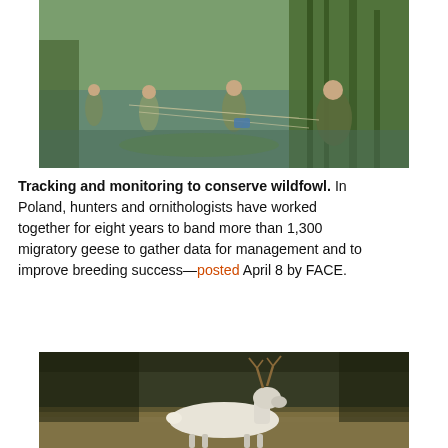[Figure (photo): People wading in shallow water pulling nets near tall reeds, with green vegetation in background]
Tracking and monitoring to conserve wildfowl. In Poland, hunters and ornithologists have worked together for eight years to band more than 1,300 migratory geese to gather data for management and to improve breeding success—posted April 8 by FACE.
[Figure (photo): A white deer with antlers walking through a field with dry grass and blurred background]